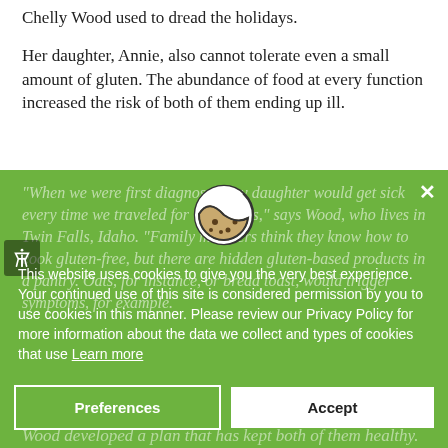Chelly Wood used to dread the holidays.
Her daughter, Annie, also cannot tolerate even a small amount of gluten. The abundance of food at every function increased the risk of both of them ending up ill.
[Figure (screenshot): Green cookie consent banner overlay with cookie icon, close button, cookie notice text, Preferences and Accept buttons. Behind the overlay, dimmed italic article text about gluten-free cooking is visible.]
"When we were first diagnosed, my daughter would get sick every time we traveled for Christmas," says Wood, who lives in Twin Falls, Idaho. "Family members think they know how to cook gluten-free, but there are hidden gluten-based products in a pantry. Oats, for instance, or bread toast, would trigger symptoms, for example.
This website uses cookies to give you the very best experience. Your continued use of this site is considered permission by you to use cookies in this manner. Please review our Privacy Policy for more information about the data we collect and types of cookies that use Learn more
Wood developed a plan that has kept both of them healthy.